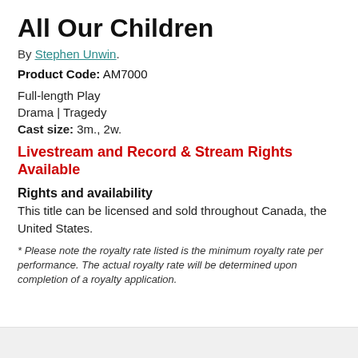All Our Children
By Stephen Unwin.
Product Code: AM7000
Full-length Play
Drama | Tragedy
Cast size: 3m., 2w.
Livestream and Record & Stream Rights Available
Rights and availability
This title can be licensed and sold throughout Canada, the United States.
* Please note the royalty rate listed is the minimum royalty rate per performance. The actual royalty rate will be determined upon completion of a royalty application.